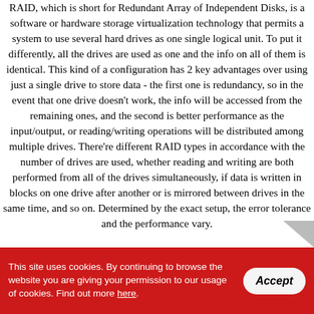RAID, which is short for Redundant Array of Independent Disks, is a software or hardware storage virtualization technology that permits a system to use several hard drives as one single logical unit. To put it differently, all the drives are used as one and the info on all of them is identical. This kind of a configuration has 2 key advantages over using just a single drive to store data - the first one is redundancy, so in the event that one drive doesn't work, the info will be accessed from the remaining ones, and the second is better performance as the input/output, or reading/writing operations will be distributed among multiple drives. There're different RAID types in accordance with the number of drives are used, whether reading and writing are both performed from all of the drives simultaneously, if data is written in blocks on one drive after another or is mirrored between drives in the same time, and so on. Determined by the exact setup, the error tolerance and the performance vary.
This site uses cookies. By continuing to browse the website you are giving your permission to our usage of cookies. Find out more here.